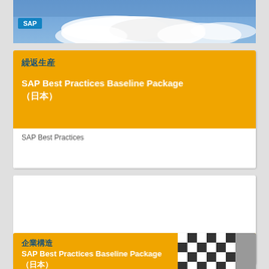[Figure (photo): Sky with clouds, SAP logo visible in upper left corner]
繰返生産
SAP Best Practices Baseline Package（日本）
SAP Best Practices
THE BEST-RUN BUSINESSES RUN SAP
企業構造
SAP Best Practices Baseline Package（日本）